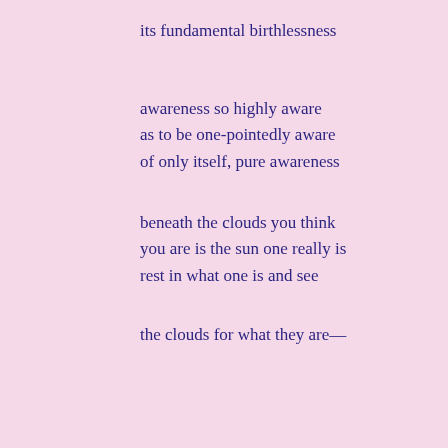its fundamental birthlessness
awareness so highly aware
as to be one-pointedly aware
of only itself, pure awareness
beneath the clouds you think
you are is the sun one really is
rest in what one is and see
the clouds for what they are—